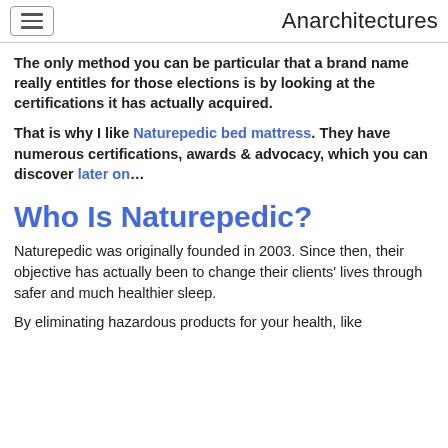Anarchitectures
The only method you can be particular that a brand name really entitles for those elections is by looking at the certifications it has actually acquired.
That is why I like Naturepedic bed mattress. They have numerous certifications, awards & advocacy, which you can discover later on…
Who Is Naturepedic?
Naturepedic was originally founded in 2003. Since then, their objective has actually been to change their clients' lives through safer and much healthier sleep.
By eliminating hazardous products for your health, like